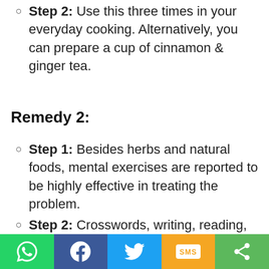Step 2: Use this three times in your everyday cooking. Alternatively, you can prepare a cup of cinnamon & ginger tea.
Remedy 2:
Step 1: Besides herbs and natural foods, mental exercises are reported to be highly effective in treating the problem.
Step 2: Crosswords, writing, reading, word puzzles and other mental exercises help in relaxing the brain as well as making it sharper.
Click here for herbs for better brain health
Social share buttons: WhatsApp, Facebook, Twitter, SMS, Share